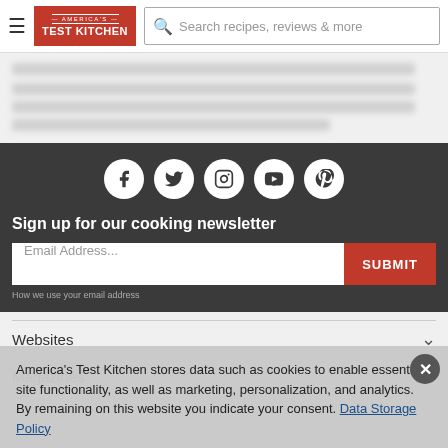America's Test Kitchen — Search recipes, reviews & more
[Figure (screenshot): Blurred/redacted text lines showing article content]
[Figure (infographic): Social media icons: Facebook, Twitter, Instagram, YouTube, Pinterest on dark background]
Sign up for our cooking newsletter
Email Address...
SUBMIT
How we use your email address
America's Test Kitchen stores data such as cookies to enable essential site functionality, as well as marketing, personalization, and analytics. By remaining on this website you indicate your consent. Data Storage Policy
Websites
Magazines